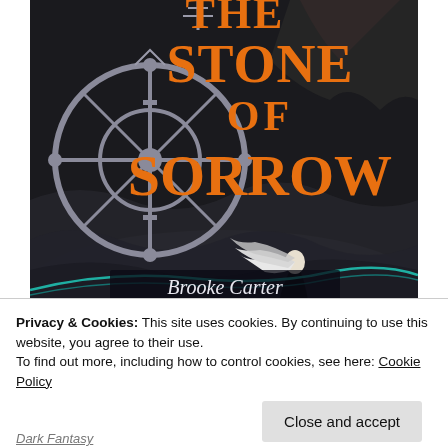[Figure (illustration): Book cover for 'The Stone of Sorrow' by Brooke Carter. Dark fantasy cover featuring large orange stylized text 'THE STONE OF SORROW' over a dark atmospheric background with rocky cliffs, mist/smoke, a large metallic Norse/Viking wheel symbol on the left, and a figure with long white flowing hair wearing a black cloak, holding a teal/blue glowing line, walking away from viewer.]
Privacy & Cookies: This site uses cookies. By continuing to use this website, you agree to their use.
To find out more, including how to control cookies, see here: Cookie Policy
Close and accept
Dark Fantasy